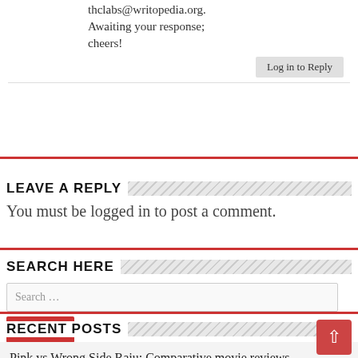thclabs@writopedia.org. Awaiting your response; cheers!
Log in to Reply
LEAVE A REPLY
You must be logged in to post a comment.
SEARCH HERE
Search …
RECENT POSTS
Pink vs Wrong Side Raju: Comparative movie reviews